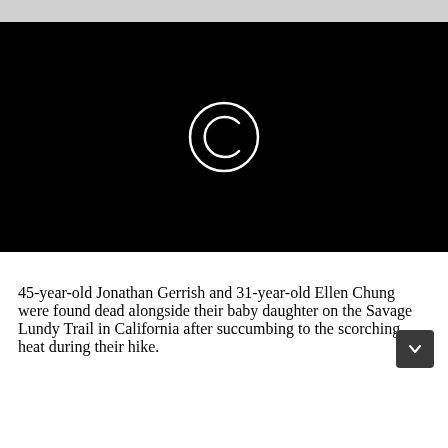[Figure (screenshot): Black video player thumbnail with a white copyright/loading circle icon (letter C inside a circle) centered on a black background.]
45-year-old Jonathan Gerrish and 31-year-old Ellen Chung were found dead alongside their baby daughter on the Savage Lundy Trail in California after succumbing to the scorching heat during their hike.